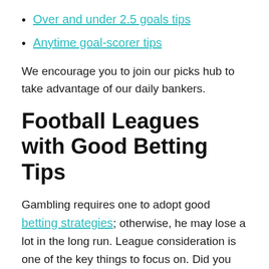Over and under 2.5 goals tips
Anytime goal-scorer tips
We encourage you to join our picks hub to take advantage of our daily bankers.
Football Leagues with Good Betting Tips
Gambling requires one to adopt good betting strategies; otherwise, he may lose a lot in the long run. League consideration is one of the key things to focus on. Did you know that football leagues differ in strengths and competence? Some leagues are known to have very low scoring power; others are